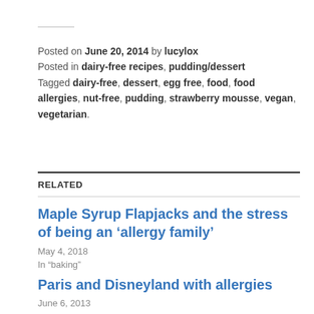Posted on June 20, 2014 by lucylox
Posted in dairy-free recipes, pudding/dessert
Tagged dairy-free, dessert, egg free, food, food allergies, nut-free, pudding, strawberry mousse, vegan, vegetarian.
RELATED
Maple Syrup Flapjacks and the stress of being an ‘allergy family’
May 4, 2018
In “baking”
Paris and Disneyland with allergies
June 6, 2013